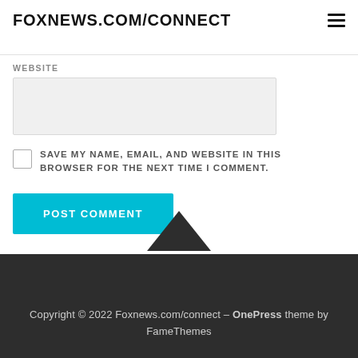FOXNEWS.COM/CONNECT
WEBSITE
SAVE MY NAME, EMAIL, AND WEBSITE IN THIS BROWSER FOR THE NEXT TIME I COMMENT.
POST COMMENT
Copyright © 2022 Foxnews.com/connect – OnePress theme by FameThemes